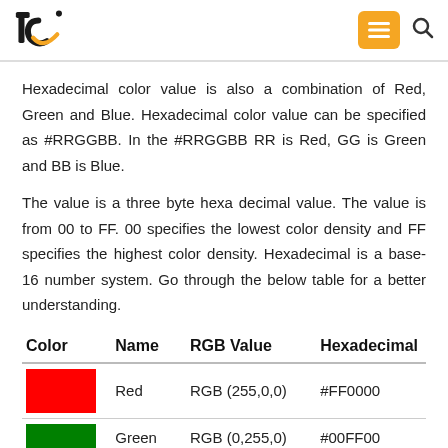tc logo, menu button, search icon
Hexadecimal color value is also a combination of Red, Green and Blue. Hexadecimal color value can be specified as #RRGGBB. In the #RRGGBB RR is Red, GG is Green and BB is Blue.
The value is a three byte hexa decimal value. The value is from 00 to FF. 00 specifies the lowest color density and FF specifies the highest color density. Hexadecimal is a base-16 number system. Go through the below table for a better understanding.
| Color | Name | RGB Value | Hexadecimal |
| --- | --- | --- | --- |
| [red swatch] | Red | RGB (255,0,0) | #FF0000 |
| [green swatch] | Green | RGB (0,255,0) | #00FF00 |